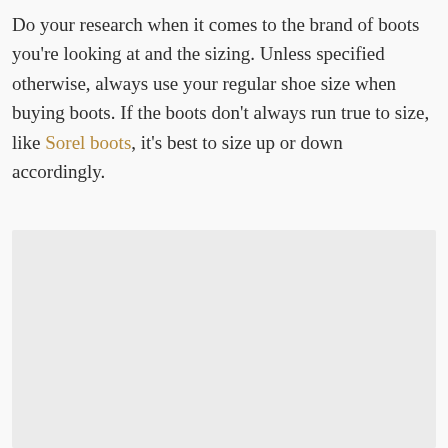Do your research when it comes to the brand of boots you're looking at and the sizing. Unless specified otherwise, always use your regular shoe size when buying boots. If the boots don't always run true to size, like Sorel boots, it's best to size up or down accordingly.
[Figure (photo): A light gray placeholder image block, approximately rectangular, occupying the lower portion of the page.]